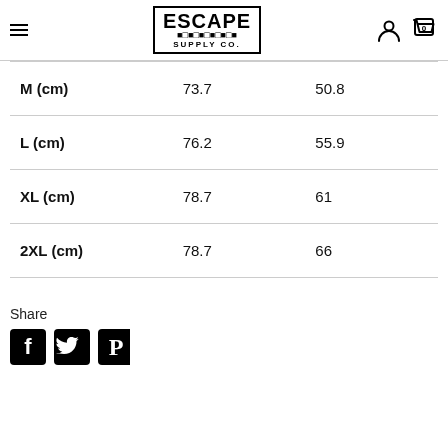Escape Supply Co. — hamburger menu, logo, user icon, cart (0)
|  |  |  |
| --- | --- | --- |
| M (cm) | 73.7 | 50.8 |
| L (cm) | 76.2 | 55.9 |
| XL (cm) | 78.7 | 61 |
| 2XL (cm) | 78.7 | 66 |
Share
[Figure (illustration): Social share icons: Facebook, Twitter, Pinterest]